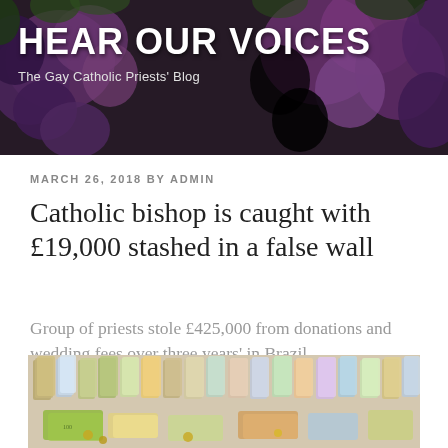HEAR OUR VOICES — The Gay Catholic Priests' Blog
MARCH 26, 2018 BY ADMIN
Catholic bishop is caught with £19,000 stashed in a false wall
Group of priests stole £425,000 from donations and wedding fees over three years' in Brazil
[Figure (photo): Photo of stacked bundles of banknotes spread across a table, showing various denominations including what appear to be Brazilian reais.]